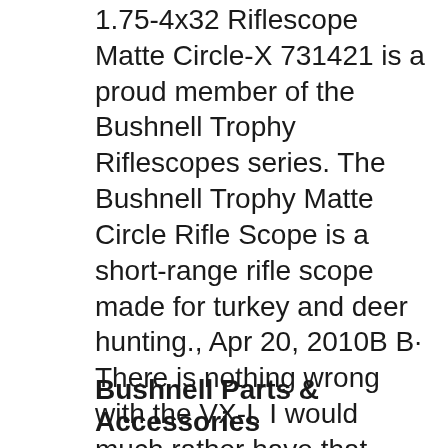1.75-4x32 Riflescope Matte Circle-X 731421 is a proud member of the Bushnell Trophy Riflescopes series. The Bushnell Trophy Matte Circle Rifle Scope is a short-range rifle scope made for turkey and deer hunting., Apr 20, 2010B B· There is nothing wrong with the VX-I. I would much rather have that than a Simmons, Tasco, Bushnell Banner etc. Your purchase also helps keep our country strong by supporting the 600+ manufacturing employees at the Beaverton Oregon Leupold factory plus it's a pretty good scope for the money. The power ring will not turn for the reasons listed.
Bushnell Parts & Accessories